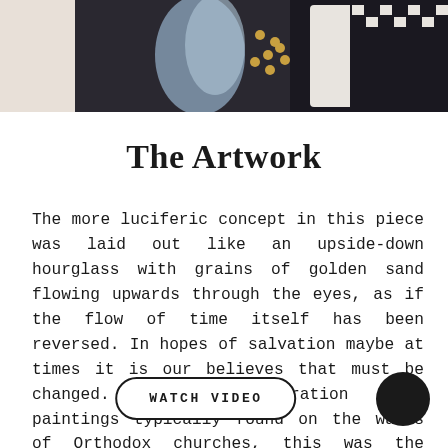[Figure (photo): Top portion of an artwork photograph showing dark clothing with gold accents and a light blue element, cropped at the top of the page]
The Artwork
The more luciferic concept in this piece was laid out like an upside-down hourglass with grains of golden sand flowing upwards through the eyes, as if the flow of time itself has been reversed. In hopes of salvation maybe at times it is our believes that must be changed. Drawing inpiration from paintings typically found on the walls of Orthodox churches, this was the perfect opportunity to expand my toolkit and use gold ink with an actual pen nib.
WATCH VIDEO